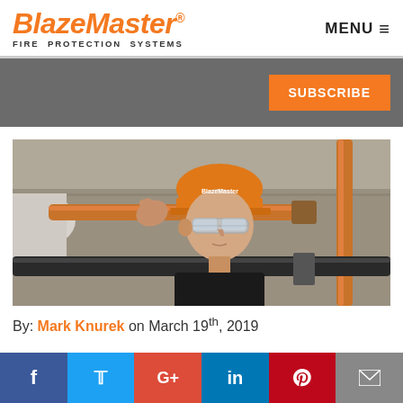BlazeMaster® FIRE PROTECTION SYSTEMS | MENU
[Figure (other): Gray banner with orange SUBSCRIBE button]
[Figure (photo): Worker in orange hard hat and safety glasses inspecting CPVC orange pipe connections overhead in an industrial setting]
By: Mark Knurek on March 19th, 2019
[Figure (infographic): Social media sharing bar with Facebook, Twitter, Google+, LinkedIn, Pinterest, and email icons]